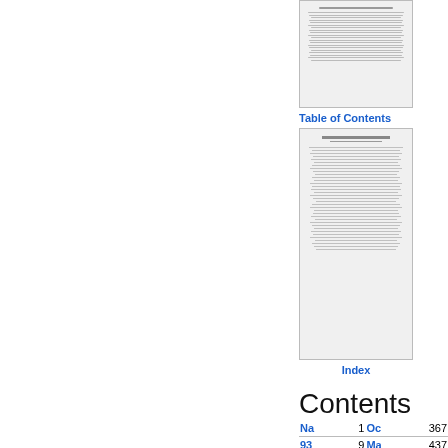[Figure (table-as-image): Thumbnail of a data table from a document]
Table of Contents
[Figure (table-as-image): Thumbnail of the Table of Contents page of a document]
Index
Contents
|  |  |  |  |
| --- | --- | --- | --- |
| Na | 1 | Oc | 367 |
| 93 | 9 | Ma | 437 |
| Ba | 23 | Mi | 440 |